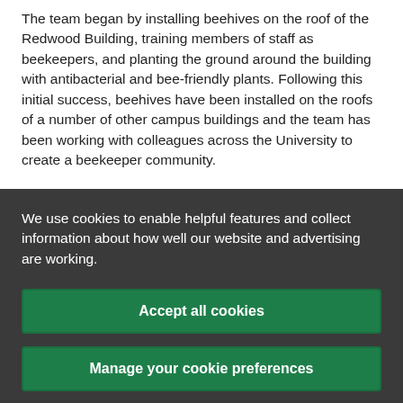The team began by installing beehives on the roof of the Redwood Building, training members of staff as beekeepers, and planting the ground around the building with antibacterial and bee-friendly plants. Following this initial success, beehives have been installed on the roofs of a number of other campus buildings and the team has been working with colleagues across the University to create a beekeeper community.
We use cookies to enable helpful features and collect information about how well our website and advertising are working.
Accept all cookies
Manage your cookie preferences